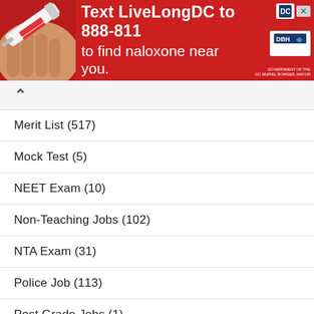[Figure (screenshot): Red advertisement banner: Text LiveLongDC to 888-811 to find naloxone near you. Contains DC and DHH logos and syringe image.]
Merit List (517)
Mock Test (5)
NEET Exam (10)
Non-Teaching Jobs (102)
NTA Exam (31)
Police Job (113)
Post Grade Jobs (1)
Post Graduate Jobs (87)
Post Office Jobs (8)
Preparation Tips (327)
Previous Year Papers (304)